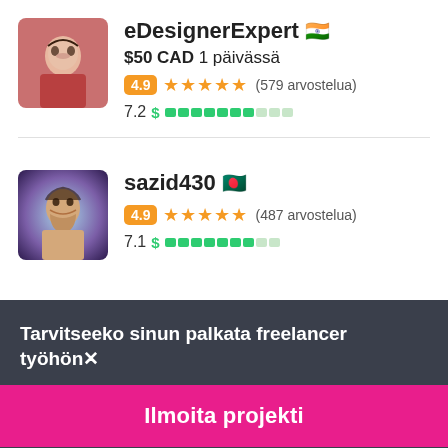[Figure (other): Profile photo of eDesignerExpert, a woman in a red outfit]
eDesignerExpert 🇮🇳
$50 CAD 1 päivässä
4.9 ★★★★★ (579 arvostelua)
7.2 $ ██████████░░░
[Figure (other): Profile photo of sazid430, a man with beard in stylized purple/blue background]
sazid430 🇧🇩
4.9 ★★★★★ (487 arvostelua)
7.1 $ █████████░░░
Tarvitseeko sinun palkata freelancer työhön✕
Ilmoita projekti